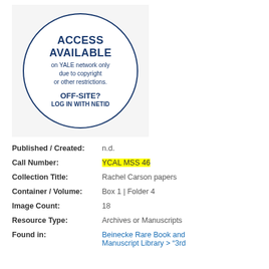[Figure (illustration): A circular stamp/badge on a light gray background that reads 'ACCESS AVAILABLE on YALE network only due to copyright or other restrictions. OFF-SITE? LOG IN WITH NETID' in dark navy blue text and border.]
Published / Created: n.d.
Call Number: YCAL MSS 46
Collection Title: Rachel Carson papers
Container / Volume: Box 1 | Folder 4
Image Count: 18
Resource Type: Archives or Manuscripts
Found in: Beinecke Rare Book and Manuscript Library > "3rd